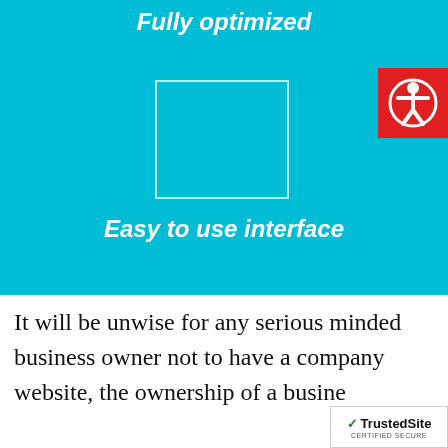Fully optimized
[Figure (other): Placeholder rectangle outline on cyan background]
Easy to use interface
[Figure (other): Accessibility icon - person figure in white circle on red background]
It will be unwise for any serious minded business owner not to have a company website, the ownership of a busine
[Figure (logo): TrustedSite Certified Secure badge]